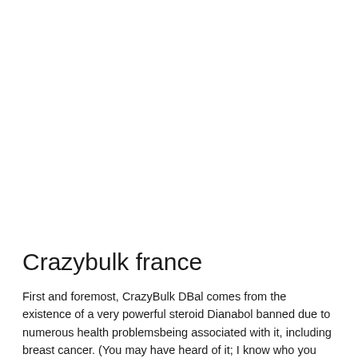Crazybulk france
First and foremost, CrazyBulk DBal comes from the existence of a very powerful steroid Dianabol banned due to numerous health problemsbeing associated with it, including breast cancer. (You may have heard of it; I know who you know from the old days of the bodybuilding scene). However, while Dianabol may, in theory, have no side effects, in the real world, there still were a